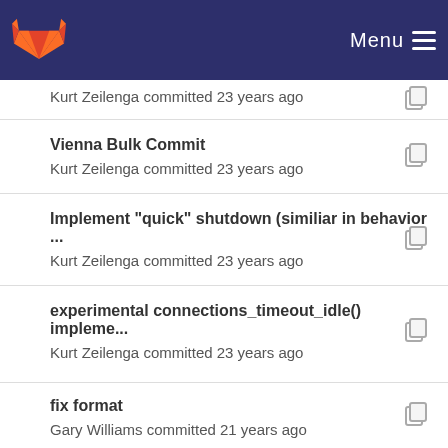Menu
Kurt Zeilenga committed 23 years ago
Vienna Bulk Commit
Kurt Zeilenga committed 23 years ago
Implement "quick" shutdown (similiar in behavior ...
Kurt Zeilenga committed 23 years ago
experimental connections_timeout_idle() impleme...
Kurt Zeilenga committed 23 years ago
fix format
Gary Williams committed 21 years ago